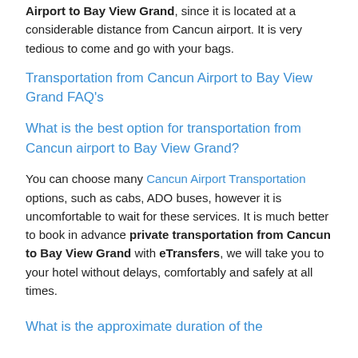Airport to Bay View Grand, since it is located at a considerable distance from Cancun airport. It is very tedious to come and go with your bags.
Transportation from Cancun Airport to Bay View Grand FAQ's
What is the best option for transportation from Cancun airport to Bay View Grand?
You can choose many Cancun Airport Transportation options, such as cabs, ADO buses, however it is uncomfortable to wait for these services. It is much better to book in advance private transportation from Cancun to Bay View Grand with eTransfers, we will take you to your hotel without delays, comfortably and safely at all times.
What is the approximate duration of the